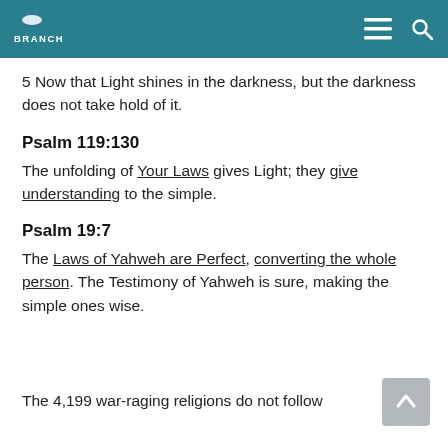BRANCH
5 Now that Light shines in the darkness, but the darkness does not take hold of it.
Psalm 119:130
The unfolding of Your Laws gives Light; they give understanding to the simple.
Psalm 19:7
The Laws of Yahweh are Perfect, converting the whole person. The Testimony of Yahweh is sure, making the simple ones wise.
The 4,199 war-raging religions do not follow